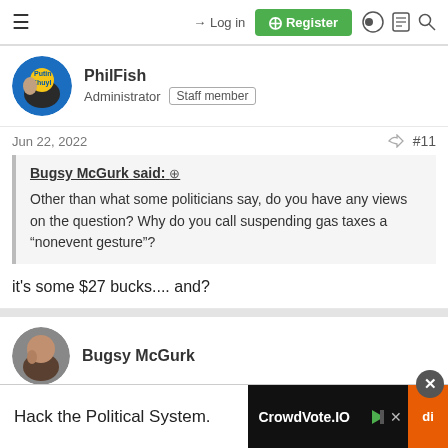☰  → Log in  ⊞ Register
PhilFish
Administrator  Staff member
Jun 22, 2022  #11
Bugsy McGurk said: ⊕
Other than what some politicians say, do you have any views on the question? Why do you call suspending gas taxes a "nonevent gesture"?
it's some $27 bucks.... and?
Bugsy McGurk
Hack the Political System.   CrowdVote.IO